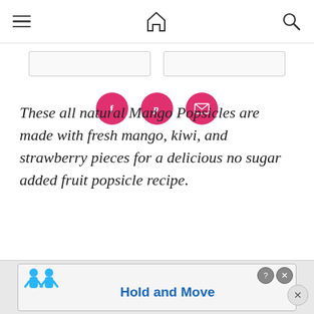Navigation header with hamburger menu, home icon, and search icon
[Figure (other): Social sharing buttons: Facebook (f), Pinterest (p), and email icons in pink circles]
These all natural Mango Popsicles are made with fresh mango, kiwi, and strawberry pieces for a delicious no sugar added fruit popsicle recipe.
[Figure (photo): Photo of colorful mango popsicles with a strawberry, kiwi slice, and mango pieces on a light blue background]
[Figure (screenshot): Advertisement bar at bottom showing blue cartoon figures and text 'Hold and Move' with close (X) and help (?) buttons]